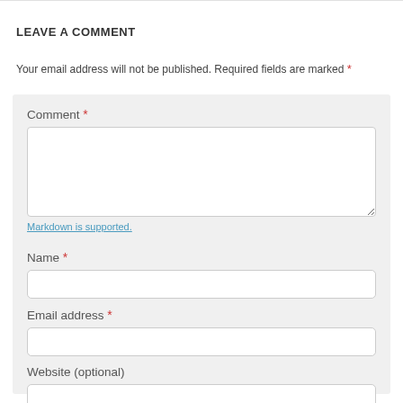LEAVE A COMMENT
Your email address will not be published. Required fields are marked *
Comment *
Markdown is supported.
Name *
Email address *
Website (optional)